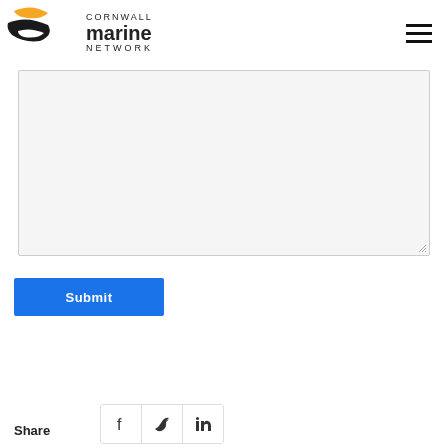Cornwall Marine Network
[Figure (other): Text area input box (empty, light gray background) with resize handle at bottom right]
[Figure (other): Blue Submit button]
Share
[Figure (other): Social share icons: Facebook, Twitter/X, LinkedIn]